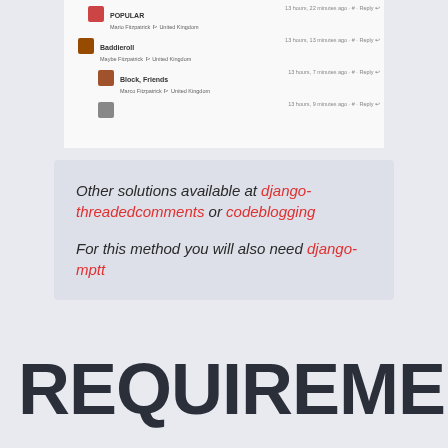[Figure (screenshot): Screenshot of a threaded comment section showing user avatars, usernames, timestamps and reply links]
Other solutions available at django-threadedcomments or codeblogging

For this method you will also need django-mptt
REQUIREMENTS